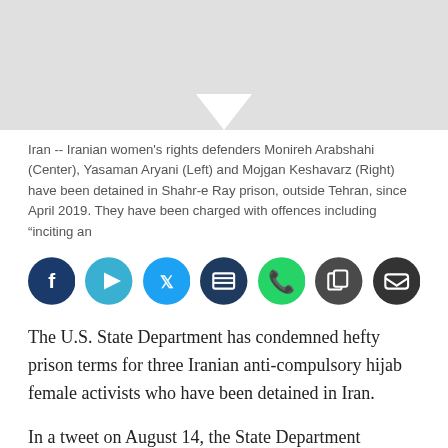[Figure (photo): Photo of three Iranian women's rights defenders, partially visible at top of page with gray background]
Iran -- Iranian women's rights defenders Monireh Arabshahi (Center), Yasaman Aryani (Left) and Mojgan Keshavarz (Right) have been detained in Shahr-e Ray prison, outside Tehran, since April 2019. They have been charged with offences including “inciting an
[Figure (infographic): Social media share buttons: Facebook (dark blue), Telegram (light blue), Twitter (blue), bookmark/share (dark blue), WhatsApp (green), copy (dark gray), email (dark gray)]
The U.S. State Department has condemned hefty prison terms for three Iranian anti-compulsory hijab female activists who have been detained in Iran.
In a tweet on August 14, the State Department